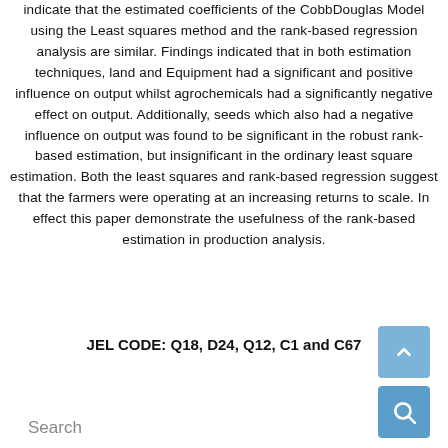indicate that the estimated coefficients of the CobbDouglas Model using the Least squares method and the rank-based regression analysis are similar. Findings indicated that in both estimation techniques, land and Equipment had a significant and positive influence on output whilst agrochemicals had a significantly negative effect on output. Additionally, seeds which also had a negative influence on output was found to be significant in the robust rank-based estimation, but insignificant in the ordinary least square estimation. Both the least squares and rank-based regression suggest that the farmers were operating at an increasing returns to scale. In effect this paper demonstrate the usefulness of the rank-based estimation in production analysis.
JEL CODE: Q18, D24, Q12, C1 and C67
Search